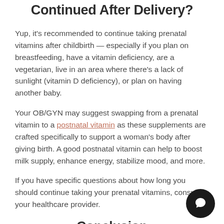Should Prenatal Vitamins Be Continued After Delivery?
Yup, it's recommended to continue taking prenatal vitamins after childbirth — especially if you plan on breastfeeding, have a vitamin deficiency, are a vegetarian, live in an area where there's a lack of sunlight (vitamin D deficiency), or plan on having another baby.
Your OB/GYN may suggest swapping from a prenatal vitamin to a postnatal vitamin as these supplements are crafted specifically to support a woman's body after giving birth. A good postnatal vitamin can help to boost milk supply, enhance energy, stabilize mood, and more.
If you have specific questions about how long you should continue taking your prenatal vitamins, consult your healthcare provider.
Conclusion